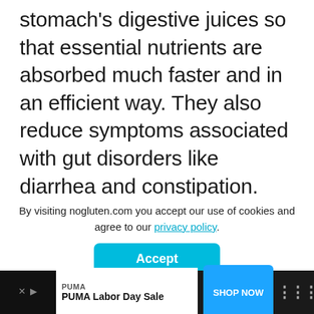stomach's digestive juices so that essential nutrients are absorbed much faster and in an efficient way. They also reduce symptoms associated with gut disorders like diarrhea and constipation. Generally, the high amounts of fiber found in avocados make this food important for boosting digestive health.
By visiting nogluten.com you accept our use of cookies and agree to our privacy policy.
Accept
of nutrients found in these other f
PUMA
PUMA Labor Day Sale
SHOP NOW